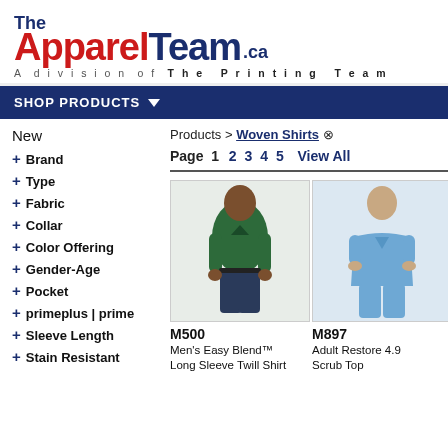[Figure (logo): The Apparel Team .ca logo with tagline 'A division of The Printing Team']
SHOP PRODUCTS
New
+ Brand
+ Type
+ Fabric
+ Collar
+ Color Offering
+ Gender-Age
+ Pocket
+ primeplus | prime
+ Sleeve Length
+ Stain Resistant
Products > Woven Shirts ⊠
Page 1 2 3 4 5 View All
[Figure (photo): Man wearing dark green long sleeve woven shirt with navy pants]
M500
Men's Easy Blend™ Long Sleeve Twill Shirt
[Figure (photo): Man wearing light blue scrub top and pants]
M897
Adult Restore 4.9 Scrub Top